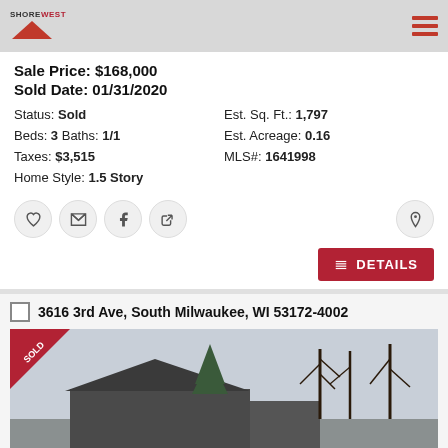Shorewest logo and navigation
Sale Price: $168,000
Sold Date: 01/31/2020
Status: Sold   Est. Sq. Ft.: 1,797
Beds: 3  Baths: 1/1   Est. Acreage: 0.16
Taxes: $3,515   MLS#: 1641998
Home Style: 1.5 Story
3616 3rd Ave, South Milwaukee, WI 53172-4002
[Figure (photo): Exterior photo of a sold residential property with bare trees in winter, showing a single-story house with a SOLD banner overlay in the upper-left corner]